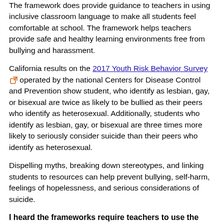The framework does provide guidance to teachers in using inclusive classroom language to make all students feel comfortable at school. The framework helps teachers provide safe and healthy learning environments free from bullying and harassment.
California results on the 2017 Youth Risk Behavior Survey operated by the national Centers for Disease Control and Prevention show student, who identify as lesbian, gay, or bisexual are twice as likely to be bullied as their peers who identify as heterosexual. Additionally, students who identify as lesbian, gay, or bisexual are three times more likely to seriously consider suicide than their peers who identify as heterosexual.
Dispelling myths, breaking down stereotypes, and linking students to resources can help prevent bullying, self-harm, feelings of hopelessness, and serious considerations of suicide.
I heard the frameworks require teachers to use the